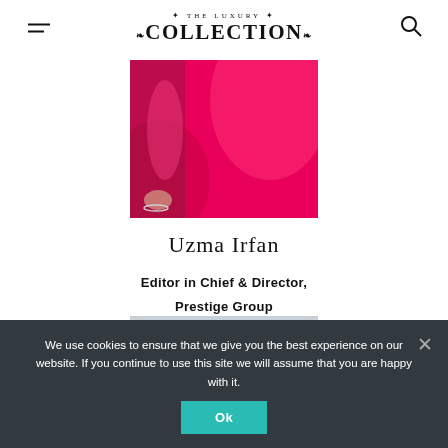THE LUXURY COLLECTION
[Figure (photo): Person wearing a bright pink/fuchsia dress, cropped to show torso and arms]
Uzma Irfan
Editor in Chief & Director, Prestige Group
[Figure (photo): Partial photo showing top of person's head with dark hair against grey background]
We use cookies to ensure that we give you the best experience on our website. If you continue to use this site we will assume that you are happy with it.